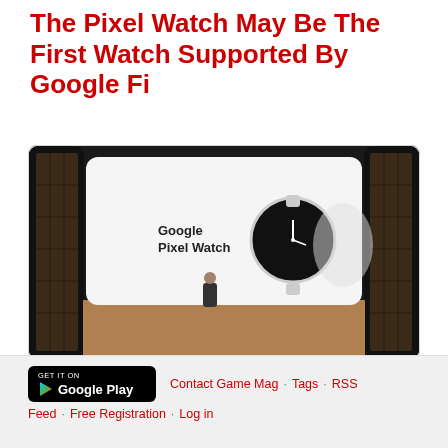The Pixel Watch May Be The First Watch Supported By Google Fi
[Figure (photo): A presenter standing on stage in front of a large screen displaying the Google Pixel Watch product image with the text 'Google Pixel Watch' and an illustration of a smartwatch with a round black face and silver band]
With all of the excitement with the recently-announced Galaxy Watch 5, we can't forget about the Google Pixel Watch. This is Google's first smartwatch, and it's set to launch... Read more ...
GET IT ON Google Play · Contact Game Mag · Tags · RSS Feed · Free Registration · Log in